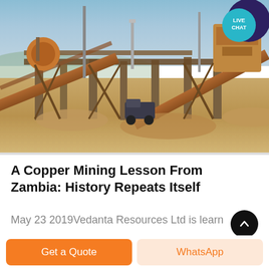[Figure (photo): Mining facility with conveyor belts, industrial equipment, structures and arid landscape, with LIVE CHAT badge overlay in upper right]
A Copper Mining Lesson From Zambia: History Repeats Itself
May 23 2019Vedanta Resources Ltd is learning
Get a Quote
WhatsApp